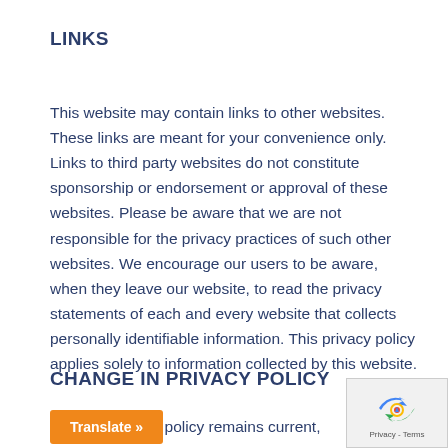LINKS
This website may contain links to other websites. These links are meant for your convenience only. Links to third party websites do not constitute sponsorship or endorsement or approval of these websites. Please be aware that we are not responsible for the privacy practices of such other websites. We encourage our users to be aware, when they leave our website, to read the privacy statements of each and every website that collects personally identifiable information. This privacy policy applies solely to information collected by this website.
CHANGE IN PRIVACY POLICY
sure our privacy policy remains current,